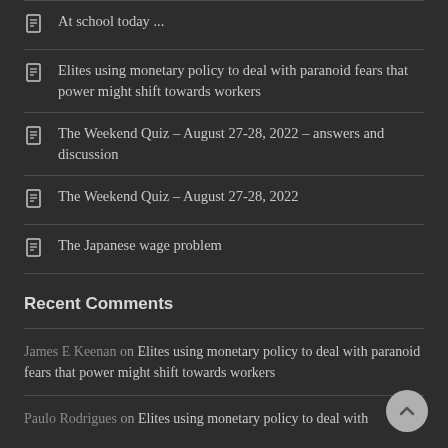At school today ...
Elites using monetary policy to deal with paranoid fears that power might shift towards workers
The Weekend Quiz – August 27-28, 2022 – answers and discussion
The Weekend Quiz – August 27-28, 2022
The Japanese wage problem
Recent Comments
James E Keenan on Elites using monetary policy to deal with paranoid fears that power might shift towards workers
Paulo Rodrigues on Elites using monetary policy to deal with